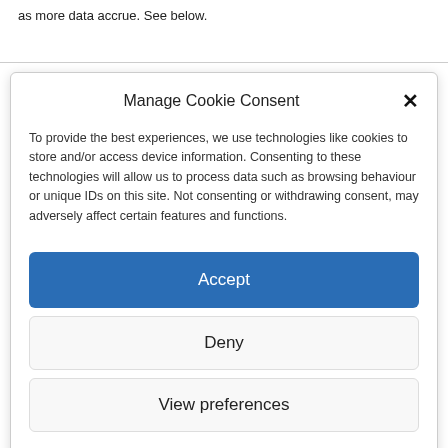as more data accrue. See below.
Manage Cookie Consent
To provide the best experiences, we use technologies like cookies to store and/or access device information. Consenting to these technologies will allow us to process data such as browsing behaviour or unique IDs on this site. Not consenting or withdrawing consent, may adversely affect certain features and functions.
Accept
Deny
View preferences
Cookie Policy  Privacy Policy